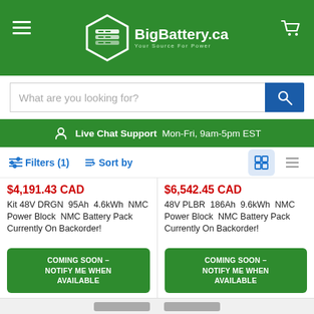[Figure (logo): BigBattery.ca logo with hexagon battery icon on green header background, hamburger menu icon on left, cart icon on right]
What are you looking for?
Live Chat Support  Mon-Fri, 9am-5pm EST
Filters (1)  Sort by
$4,191.43 CAD
Kit 48V DRGN  95Ah  4.6kWh  NMC Power Block  NMC Battery Pack  Currently On Backorder!
COMING SOON – NOTIFY ME WHEN AVAILABLE
$6,542.45 CAD
48V PLBR  186Ah  9.6kWh  NMC Power Block  NMC Battery Pack  Currently On Backorder!
COMING SOON – NOTIFY ME WHEN AVAILABLE